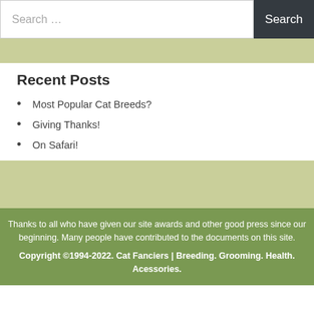Search …  Search
Recent Posts
Most Popular Cat Breeds?
Giving Thanks!
On Safari!
Thanks to all who have given our site awards and other good press since our beginning. Many people have contributed to the documents on this site. Copyright ©1994-2022. Cat Fanciers | Breeding. Grooming. Health. Acessories.